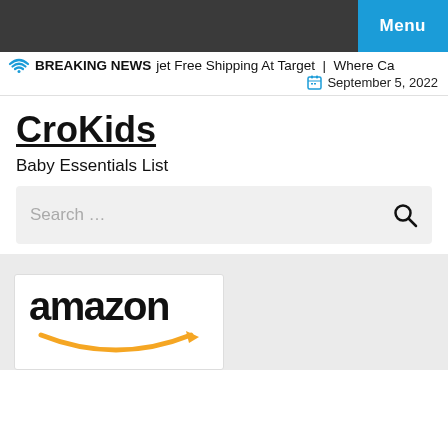Menu
BREAKING NEWS   jet Free Shipping At Target | Where Ca    September 5, 2022
CroKids
Baby Essentials List
Search …
[Figure (logo): Amazon logo with orange smile/arrow beneath the text]